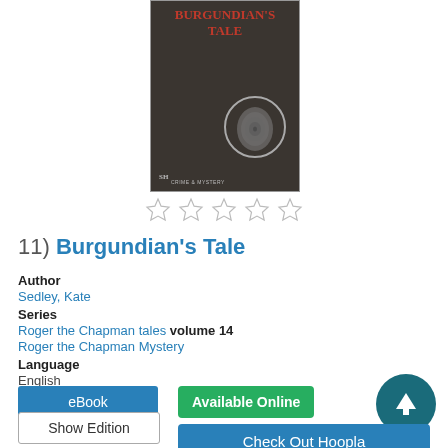[Figure (illustration): Book cover of Burgundian's Tale showing dark background with fingerprint in circle, red title text, and Crime & Mystery publisher logo]
[Figure (other): Five empty star rating icons]
11)  Burgundian's Tale
Author
Sedley, Kate
Series
Roger the Chapman tales volume 14
Roger the Chapman Mystery
Language
English
eBook
Show Edition
Available Online
Check Out Hoopla